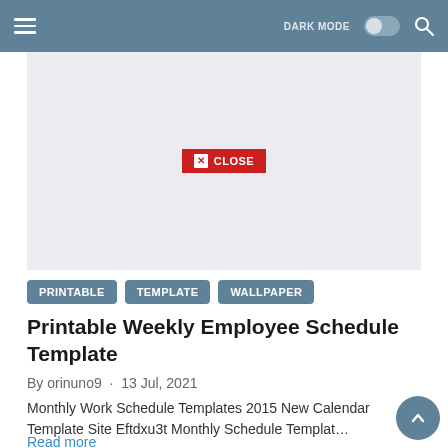DARK MODE [toggle] [search]
[Figure (screenshot): Gray advertisement area with a red CLOSE button in the center]
PRINTABLE   TEMPLATE   WALLPAPER
Printable Weekly Employee Schedule Template
By orinuno9 · 13 Jul, 2021
Monthly Work Schedule Templates 2015 New Calendar Template Site Eftdxu3t Monthly Schedule Templat…
Read more